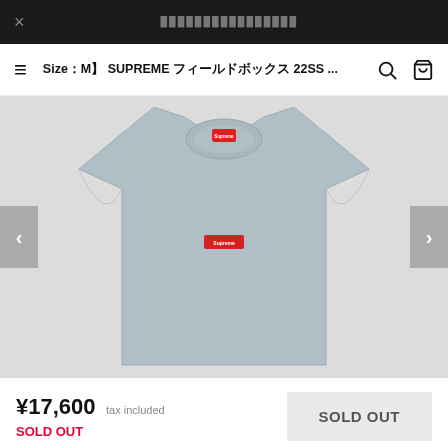× ████████████████
≡  Size：M】 SUPREME フィールドボックス 22SS … 🔍 🛒
[Figure (photo): Gray Supreme small box logo t-shirt on white background, with red Supreme label visible at chest center and neck tag. Navigation arrows on left and right sides.]
¥17,600 tax included
SOLD OUT
SOLD OUT (button)